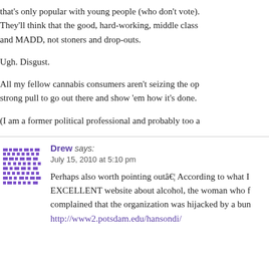that's only popular with young people (who don't vote). They'll think that the good, hard-working, middle class and MADD, not stoners and drop-outs.
Ugh. Disgust.
All my fellow cannabis consumers aren't seizing the opportunity... strong pull to go out there and show 'em how it's done.
(I am a former political professional and probably too a...
Drew says:
July 15, 2010 at 5:10 pm
Perhaps also worth pointing outâ€¦ According to what I read on an EXCELLENT website about alcohol, the woman who founded MADD complained that the organization was hijacked by a bun...
http://www2.potsdam.edu/hansondi/